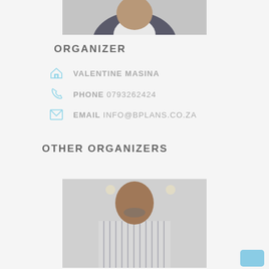[Figure (photo): Partial photo of a person wearing a dark blazer, cropped at the top of the page]
ORGANIZER
VALENTINE MASINA
PHONE 0793262424
EMAIL info@bplans.co.za
OTHER ORGANIZERS
[Figure (photo): Photo of a man wearing a striped shirt, seated indoors, partial view at bottom of page]